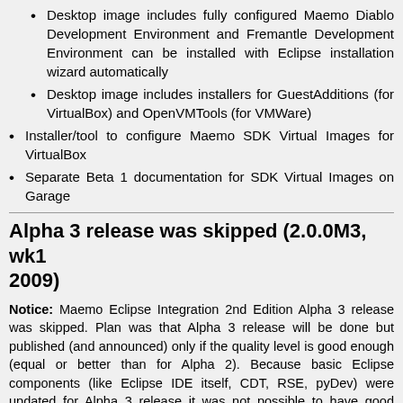Desktop image includes fully configured Maemo Diablo Development Environment and Fremantle Development Environment can be installed with Eclipse installation wizard automatically
Desktop image includes installers for GuestAdditions (for VirtualBox) and OpenVMTools (for VMWare)
Installer/tool to configure Maemo SDK Virtual Images for VirtualBox
Separate Beta 1 documentation for SDK Virtual Images on Garage
Alpha 3 release was skipped (2.0.0M3, wk1, 2009)
Notice: Maemo Eclipse Integration 2nd Edition Alpha 3 release was skipped. Plan was that Alpha 3 release will be done but published (and announced) only if the quality level is good enough (equal or better than for Alpha 2). Because basic Eclipse components (like Eclipse IDE itself, CDT, RSE, pyDev) were updated for Alpha 3 release it was not possible to have good enough quality for this release in given time schedule (about one month between Alpha 2 and Alpha 3 releases) and project decided to skip Alpha 3 release and target to get first Beta release out with good quality and with final versions of standard Eclipse components (no more major version updates for final). Beta 1 release target for week 20 is not optional :).
New features in Alpha 2 release (2.0.0M2,